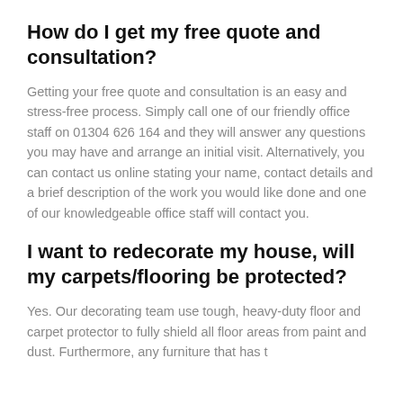How do I get my free quote and consultation?
Getting your free quote and consultation is an easy and stress-free process. Simply call one of our friendly office staff on 01304 626 164 and they will answer any questions you may have and arrange an initial visit. Alternatively, you can contact us online stating your name, contact details and a brief description of the work you would like done and one of our knowledgeable office staff will contact you.
I want to redecorate my house, will my carpets/flooring be protected?
Yes. Our decorating team use tough, heavy-duty floor and carpet protector to fully shield all floor areas from paint and dust. Furthermore, any furniture that has t